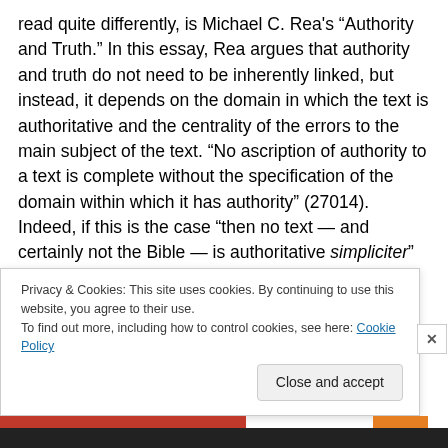read quite differently, is Michael C. Rea's “Authority and Truth.” In this essay, Rea argues that authority and truth do not need to be inherently linked, but instead, it depends on the domain in which the text is authoritative and the centrality of the errors to the main subject of the text. “No ascription of authority to a text is complete without the specification of the domain within which it has authority” (27014). Indeed, if this is the case “then no text — and certainly not the Bible — is authoritative simpliciter” (27010-27011), meaning authoritative in everything. He then goes on to discuss different kinds of authority
Privacy & Cookies: This site uses cookies. By continuing to use this website, you agree to their use.
To find out more, including how to control cookies, see here: Cookie Policy